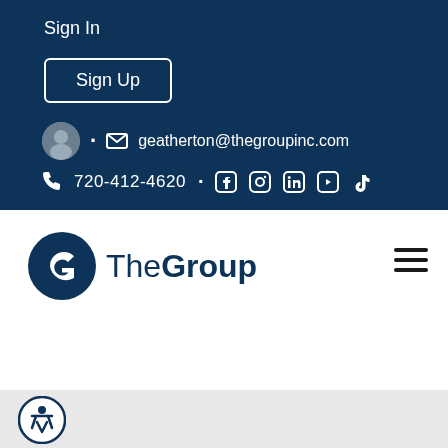Sign In
Sign Up
geatherton@thegroupinc.com
720-412-4620
[Figure (logo): The Group Inc. logo with stylized G icon and text 'TheGroup']
[Figure (other): Hamburger menu icon (three horizontal lines)]
[Figure (other): Accessibility icon button (person in circle)]